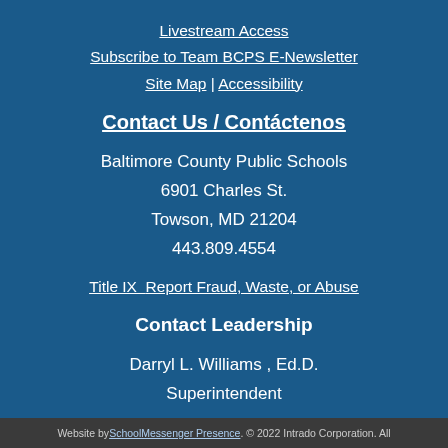Livestream Access
Subscribe to Team BCPS E-Newsletter
Site Map | Accessibility
Contact Us / Contáctenos
Baltimore County Public Schools
6901 Charles St.
Towson, MD 21204
443.809.4554
Title IX  Report Fraud, Waste, or Abuse
Contact Leadership
Darryl L. Williams , Ed.D.
Superintendent
Email Dr. Williams
Follow @BCPS_Sup
Website by SchoolMessenger Presence. © 2022 Intrado Corporation. All